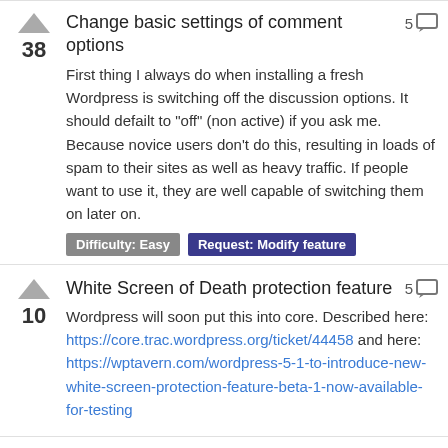Change basic settings of comment options
First thing I always do when installing a fresh Wordpress is switching off the discussion options. It should defailt to "off" (non active) if you ask me. Because novice users don't do this, resulting in loads of spam to their sites as well as heavy traffic. If people want to use it, they are well capable of switching them on later on.
Difficulty: Easy | Request: Modify feature
White Screen of Death protection feature
Wordpress will soon put this into core. Described here: https://core.trac.wordpress.org/ticket/44458 and here: https://wptavern.com/wordpress-5-1-to-introduce-new-white-screen-protection-feature-beta-1-now-available-for-testing
Choose login url instead wp-admin
Will be great to be able to choose the login name instead of just the plain wp-admin. of course some plugin does, but